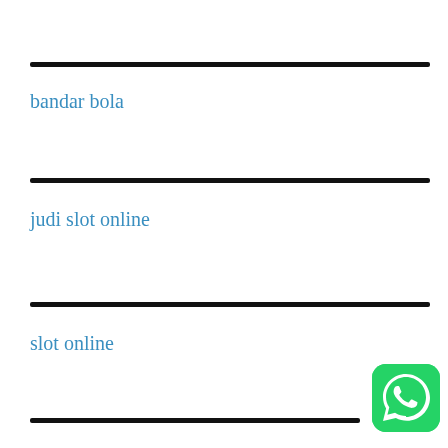bandar bola
judi slot online
slot online
[Figure (logo): WhatsApp logo green rounded square icon with white phone handset]